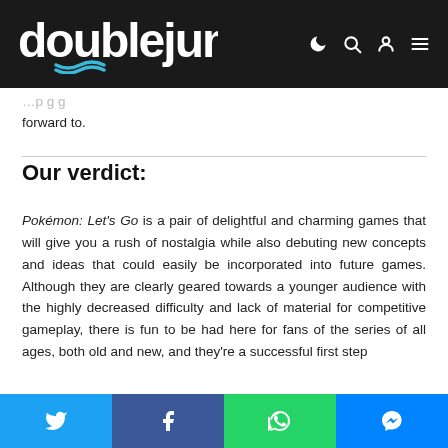doublejump
forward to.
Our verdict:
Pokémon: Let's Go is a pair of delightful and charming games that will give you a rush of nostalgia while also debuting new concepts and ideas that could easily be incorporated into future games. Although they are clearly geared towards a younger audience with the highly decreased difficulty and lack of material for competitive gameplay, there is fun to be had here for fans of the series of all ages, both old and new, and they're a successful first step